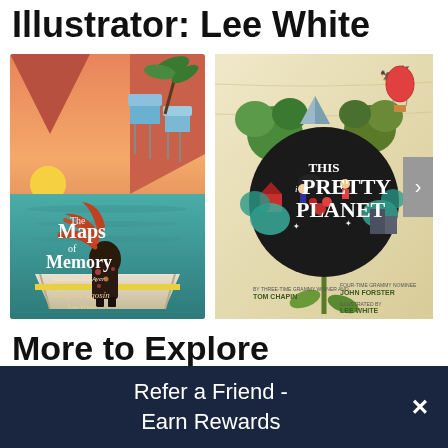Illustrator: Lee White
[Figure (illustration): Book cover of 'The Maps of Memory' illustrated by Lee White, showing a girl with red flowing hair standing in a boat, overlooking a coastal village at sunset with teal-colored water]
[Figure (illustration): Book cover of 'This Pretty Planet' illustrated by Lee White, showing a dark circular globe surrounded by colorful trees, buildings, and children, with a flower stem below]
More to Explore
Refer a Friend - Earn Rewards